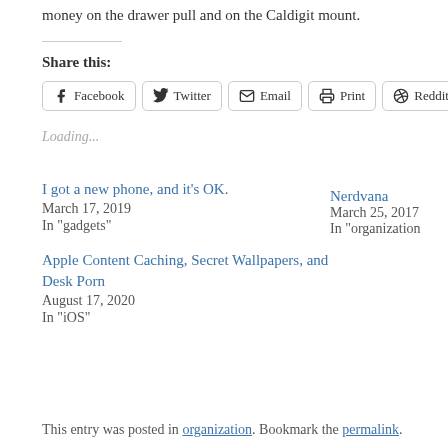money on the drawer pull and on the Caldigit mount.
Share this:
Facebook  Twitter  Email  Print  Reddit
Loading...
I got a new phone, and it's OK.
March 17, 2019
In "gadgets"
Nerdvana
March 25, 2017
In "organization"
Apple Content Caching, Secret Wallpapers, and Desk Porn
August 17, 2020
In "iOS"
This entry was posted in organization. Bookmark the permalink.